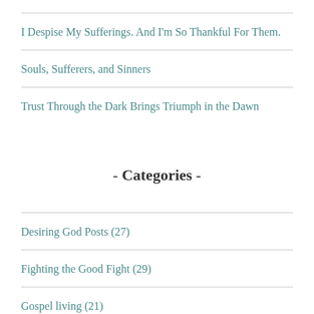I Despise My Sufferings. And I'm So Thankful For Them.
Souls, Sufferers, and Sinners
Trust Through the Dark Brings Triumph in the Dawn
- Categories -
Desiring God Posts (27)
Fighting the Good Fight (29)
Gospel living (21)